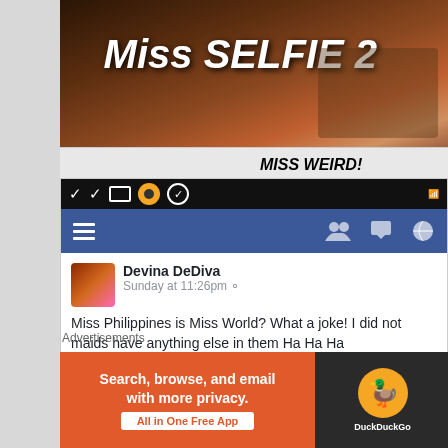[Figure (screenshot): Partial photo showing text 'Miss SELFIE 2' in bold white italic over a dark background with a person]
MISS WEIRD!
[Figure (screenshot): Facebook mobile app screenshot showing a post by Devina DeDiva saying 'Miss Philippines is Miss World? What a joke! I did not maids have anything else in them Ha Ha Ha' with 50 people liking it]
Advertisements
[Figure (screenshot): DuckDuckGo advertisement banner: Search, browse, and email with more privacy. All in One Free App]